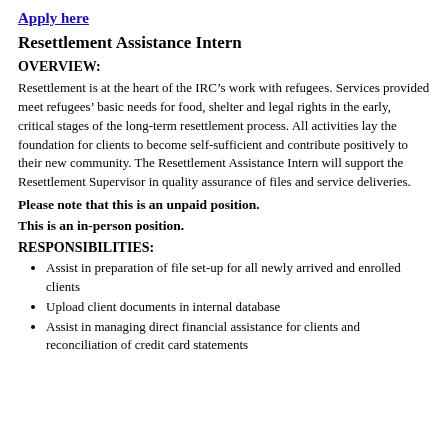Apply here
Resettlement Assistance Intern
OVERVIEW:
Resettlement is at the heart of the IRC’s work with refugees. Services provided meet refugees’ basic needs for food, shelter and legal rights in the early, critical stages of the long-term resettlement process. All activities lay the foundation for clients to become self-sufficient and contribute positively to their new community. The Resettlement Assistance Intern will support the Resettlement Supervisor in quality assurance of files and service deliveries.
Please note that this is an unpaid position.
This is an in-person position.
RESPONSIBILITIES:
Assist in preparation of file set-up for all newly arrived and enrolled clients
Upload client documents in internal database
Assist in managing direct financial assistance for clients and reconciliation of credit card statements